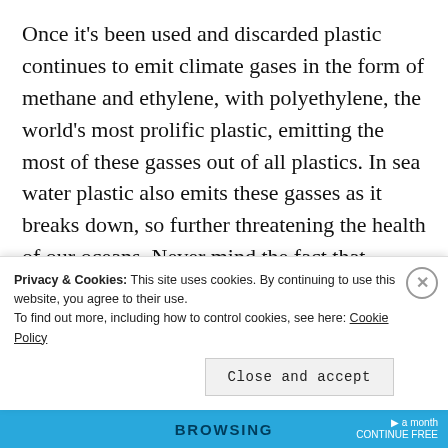Once it's been used and discarded plastic continues to emit climate gases in the form of methane and ethylene, with polyethylene, the world's most prolific plastic, emitting the most of these gasses out of all plastics. In sea water plastic also emits these gasses as it breaks down, so further threatening the health of our oceans. Never mind the fact that plastic attracts pollutants in seawater, kills
Privacy & Cookies: This site uses cookies. By continuing to use this website, you agree to their use.
To find out more, including how to control cookies, see here: Cookie Policy
Close and accept
BROWSING